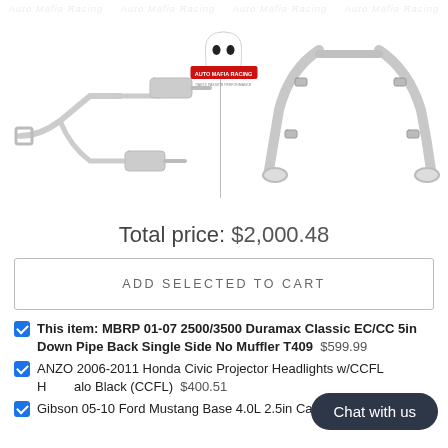[Figure (photo): Watermark text repeating 'Auto Mafia Racing' in faded gray italic text across the top]
[Figure (photo): Product images: left - exhaust pipe system (MBRP), center - Auto Mafia Racing logo (white ghost figure, red text), right - dual exhaust tips. A vertical divider line separates left and right images.]
Total price: $2,000.48
ADD SELECTED TO CART
This item: MBRP 01-07 2500/3500 Duramax Classic EC/CC 5in Down Pipe Back Single Side No Muffler T409  $599.99
ANZO 2006-2011 Honda Civic Projector Headlights w/CCFL Halo Black (CCFL)  $400.51
Gibson 05-10 Ford Mustang Base 4.0L 2.5in Cat-Back Dual...